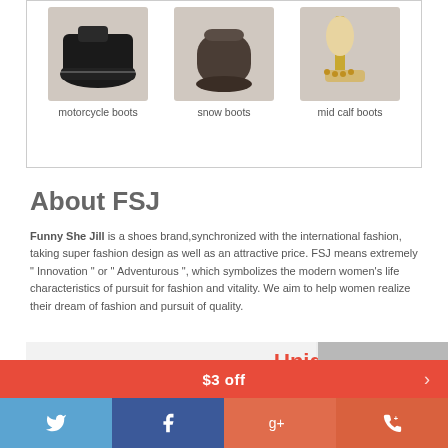[Figure (photo): Three shoe product photos: motorcycle boots, snow boots, mid calf boots with labels]
About FSJ
Funny She Jill is a shoes brand,synchronized with the international fashion, taking super fashion design as well as an attractive price. FSJ means extremely " Innovation " or " Adventurous ", which symbolizes the modern women's life characteristics of pursuit for fashion and vitality. We aim to help women realize their dream of fashion and pursuit of quality.
[Figure (infographic): Banner showing 'Unique style' text in red, timeline entry 2010.7 with shoe factory info, and a woman fashion photo on right]
$3 off
[Figure (other): Social media bar with Twitter, Facebook, Google+, and phone icons]